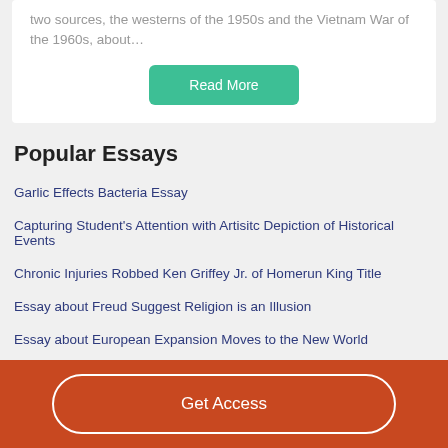two sources, the westerns of the 1950s and the Vietnam War of the 1960s, about…
Read More
Popular Essays
Garlic Effects Bacteria Essay
Capturing Student's Attention with Artisitc Depiction of Historical Events
Chronic Injuries Robbed Ken Griffey Jr. of Homerun King Title
Essay about Freud Suggest Religion is an Illusion
Essay about European Expansion Moves to the New World
Get Access